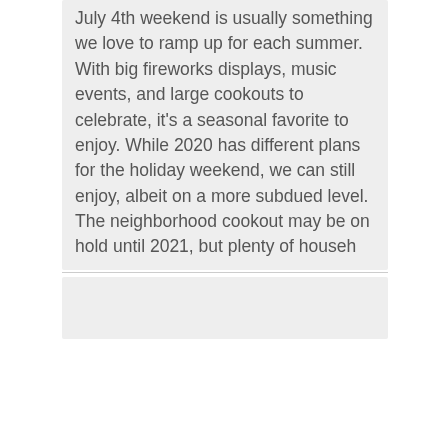July 4th weekend is usually something we love to ramp up for each summer. With big fireworks displays, music events, and large cookouts to celebrate, it's a seasonal favorite to enjoy. While 2020 has different plans for the holiday weekend, we can still enjoy, albeit on a more subdued level. The neighborhood cookout may be on hold until 2021, but plenty of househ